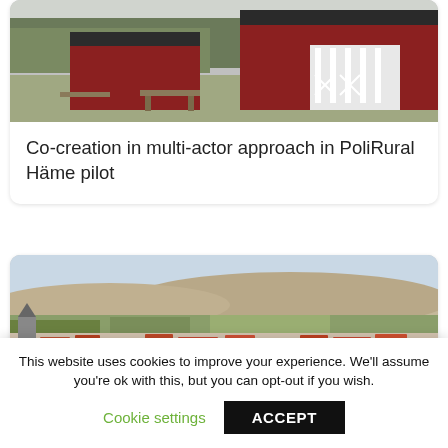[Figure (photo): Photograph of red wooden Scandinavian buildings with white porch columns and X-patterned railings, with benches and trees in the background]
Co-creation in multi-actor approach in PoliRural Häme pilot
[Figure (photo): Aerial/elevated photograph of a rural town with orange-red rooftops, white walls, agricultural fields, and hills in the background under a hazy sky]
This website uses cookies to improve your experience. We'll assume you're ok with this, but you can opt-out if you wish.
Cookie settings
ACCEPT